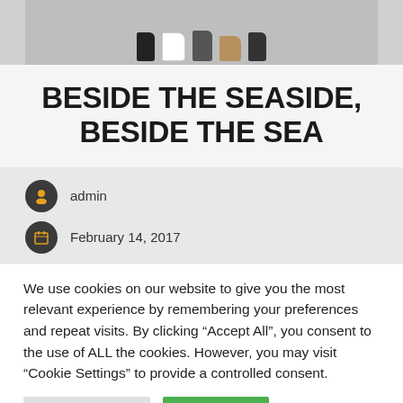[Figure (photo): Cropped photo showing feet/shoes of multiple people standing on a cobblestone or brick surface]
BESIDE THE SEASIDE, BESIDE THE SEA
admin
February 14, 2017
We use cookies on our website to give you the most relevant experience by remembering your preferences and repeat visits. By clicking “Accept All”, you consent to the use of ALL the cookies. However, you may visit "Cookie Settings" to provide a controlled consent.
Cookie Settings | Accept All